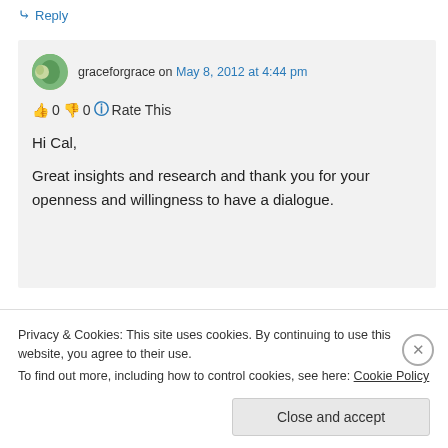↪ Reply
graceforgrace on May 8, 2012 at 4:44 pm
👍 0 👎 0 ℹ Rate This
Hi Cal,
Great insights and research and thank you for your openness and willingness to have a dialogue.
Privacy & Cookies: This site uses cookies. By continuing to use this website, you agree to their use.
To find out more, including how to control cookies, see here: Cookie Policy
Close and accept